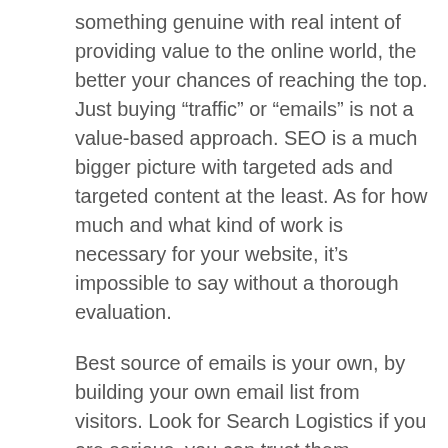something genuine with real intent of providing value to the online world, the better your chances of reaching the top. Just buying “traffic” or “emails” is not a value-based approach. SEO is a much bigger picture with targeted ads and targeted content at the least. As for how much and what kind of work is necessary for your website, it’s impossible to say without a thorough evaluation.
Best source of emails is your own, by building your own email list from visitors. Look for Search Logistics if you are serious, you can trust them.
Best of luck mate!